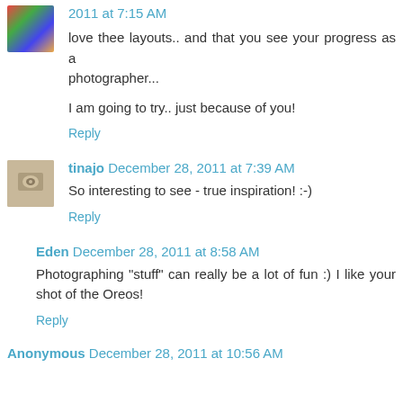2011 at 7:15 AM
love thee layouts.. and that you see your progress as a photographer...
I am going to try.. just because of you!
Reply
tinajo December 28, 2011 at 7:39 AM
So interesting to see - true inspiration! :-)
Reply
Eden December 28, 2011 at 8:58 AM
Photographing "stuff" can really be a lot of fun :) I like your shot of the Oreos!
Reply
Anonymous December 28, 2011 at 10:56 AM